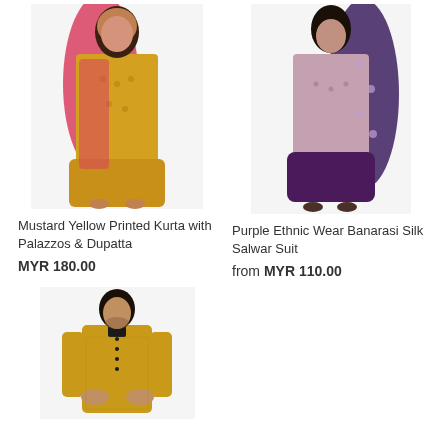[Figure (photo): Woman wearing mustard yellow printed kurta with palazzos and red/pink dupatta]
Mustard Yellow Printed Kurta with Palazzos & Dupatta
MYR 180.00
[Figure (photo): Woman wearing purple ethnic wear Banarasi silk salwar suit with purple dupatta]
Purple Ethnic Wear Banarasi Silk Salwar Suit
from MYR 110.00
[Figure (photo): Man wearing mustard yellow kurta/sherwani with dark buttons]